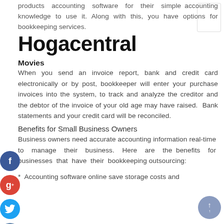products accounting software for their simple accounting knowledge to use it. Along with this, you have options for bookkeeping services.
Hogacentral
Movies
When you send an invoice report, bank and credit card electronically or by post, bookkeeper will enter your purchase invoices into the system, to track and analyze the creditor and the debtor of the invoice of your old age may have raised. Bank statements and your credit card will be reconciled.
Benefits for Small Business Owners
Business owners need accurate accounting information real-time to manage their business. Here are the benefits for businesses that have their bookkeeping outsourcing:
* Accounting software online save storage costs and